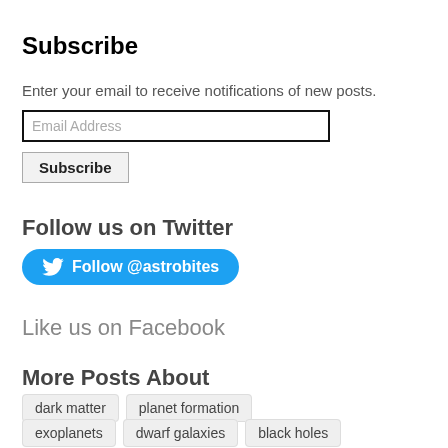Subscribe
Enter your email to receive notifications of new posts.
Follow us on Twitter
[Figure (other): Blue rounded Twitter follow button with bird icon and text 'Follow @astrobites']
Like us on Facebook
More Posts About
dark matter
planet formation
exoplanets
dwarf galaxies
black holes